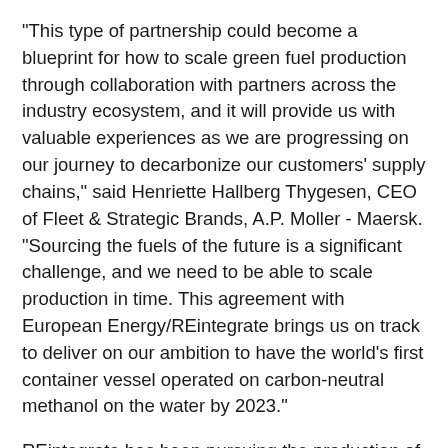“This type of partnership could become a blueprint for how to scale green fuel production through collaboration with partners across the industry ecosystem, and it will provide us with valuable experiences as we are progressing on our journey to decarbonize our customers’ supply chains,” said Henriette Hallberg Thygesen, CEO of Fleet & Strategic Brands, A.P. Moller - Maersk. “Sourcing the fuels of the future is a significant challenge, and we need to be able to scale production in time. This agreement with European Energy/REintegrate brings us on track to deliver on our ambition to have the world’s first container vessel operated on carbon-neutral methanol on the water by 2023.”
REintegrate has been pursuing the production of green e-methanol in its test laboratory in Aalborg.  Plans call for the new facility to produce the approximately 10,000 tons of e-methanol that Maersk’s first vessel will require annually while in service. The methanol facility will use renewable energy and biogenic CO2 to produce e-methanol. The fuel